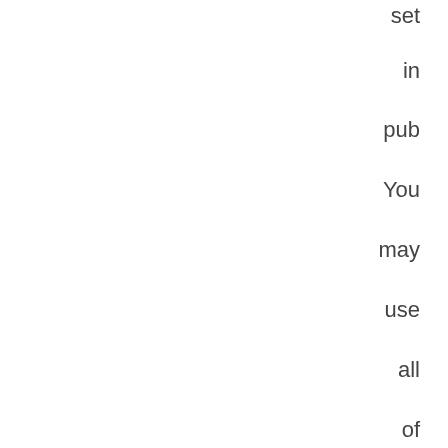se
in
pu
Yo
ma
us
all
of
tho
Jus
do
edi
the
pd
file
an
do
sa